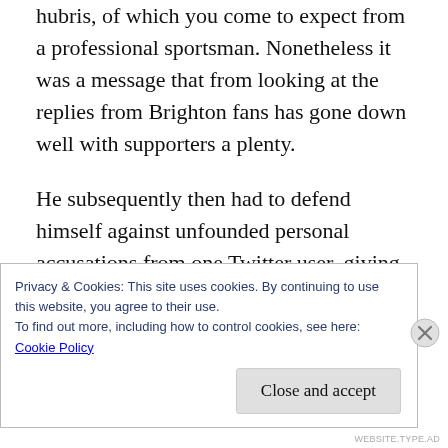hubris, of which you come to expect from a professional sportsman. Nonetheless it was a message that from looking at the replies from Brighton fans has gone down well with supporters a plenty.
He subsequently then had to defend himself against unfounded personal accusations from one Twitter user, giving an example of exactly why many professional footballers don’t put themselves out there on social media
Privacy & Cookies: This site uses cookies. By continuing to use this website, you agree to their use.
To find out more, including how to control cookies, see here:
Cookie Policy